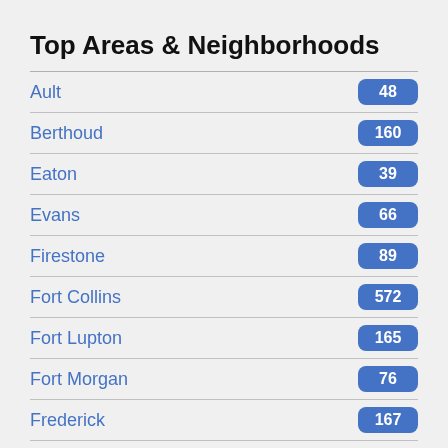Top Areas & Neighborhoods
| Area | Count |
| --- | --- |
| Ault | 48 |
| Berthoud | 160 |
| Eaton | 39 |
| Evans | 66 |
| Firestone | 89 |
| Fort Collins | 572 |
| Fort Lupton | 165 |
| Fort Morgan | 76 |
| Frederick | 167 |
| Greeley | 411 |
| Johnstown | 195 |